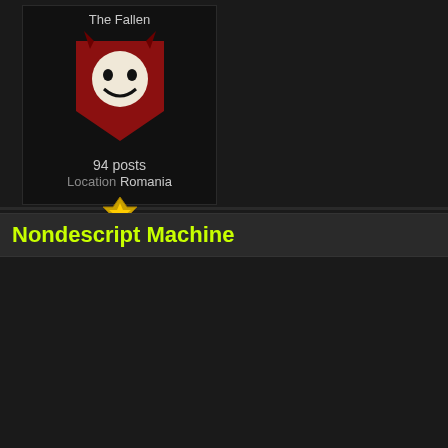[Figure (screenshot): User card for 'The Fallen' showing a red devil mask logo avatar, 94 posts, Location Romania, and a gold badge icon]
Nondescript Machine
[Figure (screenshot): User card showing 'Member' label, shark/diamond avatar image, online dot, and 'Ace Of Spades' title with partial avatar below]
Posted 02 June 2022 - 10:57 AM
Wishlisted on steam!